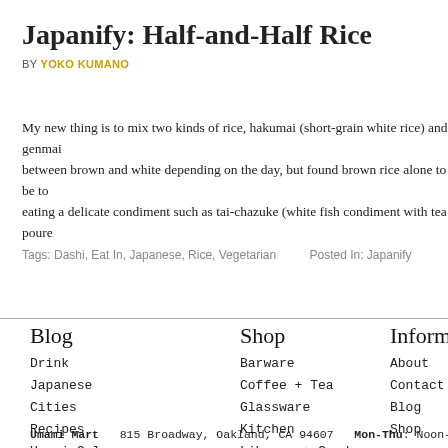Japanify: Half-and-Half Rice
BY YOKO KUMANO
My new thing is to mix two kinds of rice, hakumai (short-grain white rice) and genmai... between brown and white depending on the day, but found brown rice alone to be to... eating a delicate condiment such as tai-chazuke (white fish condiment with tea poure...
Tags: Dashi, Eat In, Japanese, Rice, Vegetarian    Posted In: Japanify
Blog
Drink
Japanese
Cities
Recipes
Umami Columns
Popular
Shop
Barware
Coffee + Tea
Glassware
Kitchen
Library + Garden
Gift Sets
Inform
About
Contact
Blog
Shop
Umami Mart   815 Broadway, Oakland, CA 94607   Mon-Thu: Noon-7 PM   Fri: 11-